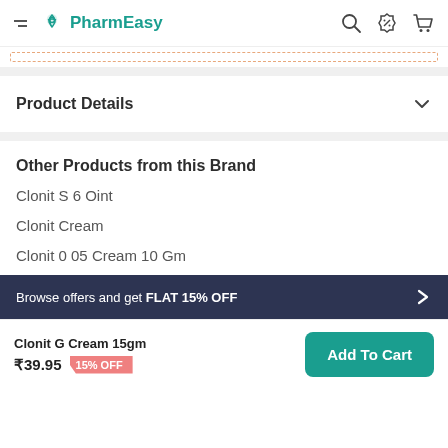PharmEasy
Product Details
Other Products from this Brand
Clonit S 6 Oint
Clonit Cream
Clonit 0 05 Cream 10 Gm
Browse offers and get FLAT 15% OFF
Clonit G Cream 15gm ₹39.95 15% OFF Add To Cart